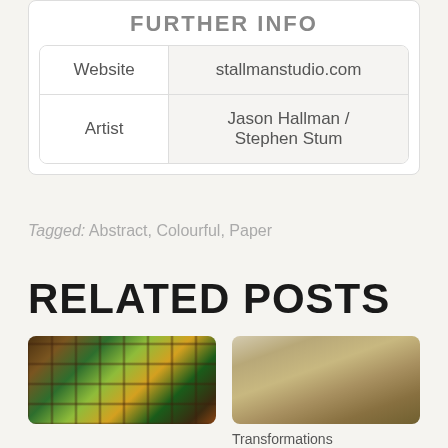FURTHER INFO
|  |  |
| --- | --- |
| Website | stallmanstudio.com |
| Artist | Jason Hallman / Stephen Stum |
Tagged: Abstract, Colourful, Paper
RELATED POSTS
[Figure (photo): Interior of a room with large stained glass windows]
[Figure (photo): Wood sculpture shaped like a bowl or vessel on white background]
Transformations Sculptured Wood